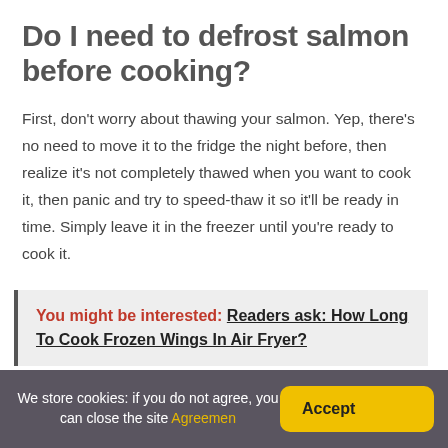Do I need to defrost salmon before cooking?
First, don't worry about thawing your salmon. Yep, there's no need to move it to the fridge the night before, then realize it's not completely thawed when you want to cook it, then panic and try to speed-thaw it so it'll be ready in time. Simply leave it in the freezer until you're ready to cook it.
You might be interested: Readers ask: How Long To Cook Frozen Wings In Air Fryer?
We store cookies: if you do not agree, you can close the site Agreemen